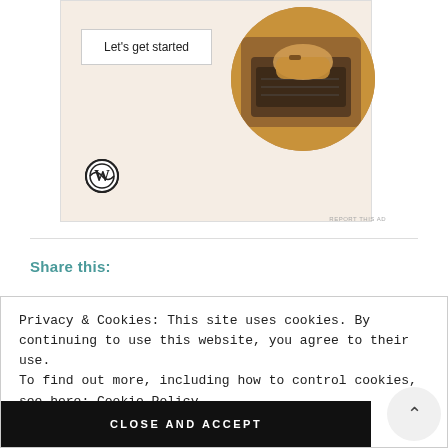[Figure (screenshot): WordPress advertisement banner with 'Let's get started' button, WordPress logo, and a circular photo of hands on a laptop on a beige background. 'REPORT THIS AD' text below.]
Share this:
Privacy & Cookies: This site uses cookies. By continuing to use this website, you agree to their use.
To find out more, including how to control cookies, see here: Cookie Policy
CLOSE AND ACCEPT